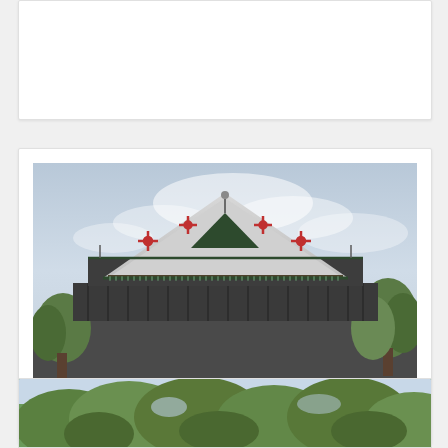[Figure (photo): Top portion of a card/blog post, cropped — white background, partial view only]
[Figure (photo): Photograph of Vimanmenk Palace in Bangkok, Thailand — a large traditional Thai-style wooden building with a distinctive white roof decorated with red cross/star ornaments and dark green gabled peaks against a cloudy sky, with trees visible on the sides]
Vimanmenk Palace in Bangkok – Thailand
[Figure (photo): Partial bottom image showing green tree canopy — another blog card entry partially visible at bottom of page]